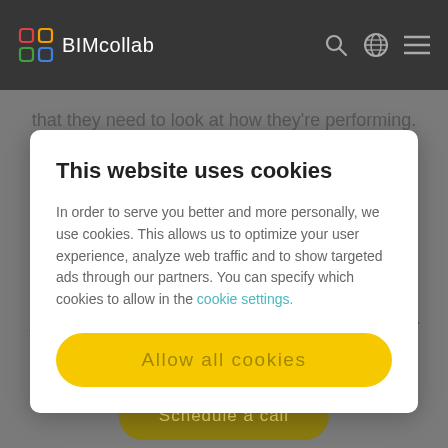BIMcollab
that they need to look at how they're performing.
This website uses cookies
In order to serve you better and more personally, we use cookies. This allows us to optimize your user experience, analyze web traffic and to show targeted ads through our partners. You can specify which cookies to allow in the cookie settings.
Allow all cookies
Are you wondering how you could improve your model validation or issue management with BIMcollab?
Schedule a call